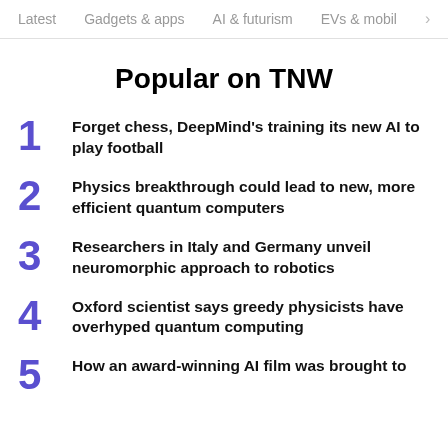Latest   Gadgets & apps   AI & futurism   EVs & mobil  >
Popular on TNW
Forget chess, DeepMind's training its new AI to play football
Physics breakthrough could lead to new, more efficient quantum computers
Researchers in Italy and Germany unveil neuromorphic approach to robotics
Oxford scientist says greedy physicists have overhyped quantum computing
How an award-winning AI film was brought to